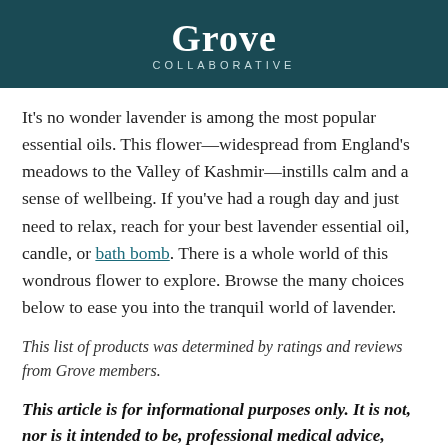Grove COLLABORATIVE
It's no wonder lavender is among the most popular essential oils. This flower—widespread from England's meadows to the Valley of Kashmir—instills calm and a sense of wellbeing. If you've had a rough day and just need to relax, reach for your best lavender essential oil, candle, or bath bomb. There is a whole world of this wondrous flower to explore. Browse the many choices below to ease you into the tranquil world of lavender.
This list of products was determined by ratings and reviews from Grove members.
This article is for informational purposes only. It is not, nor is it intended to be, professional medical advice, diagnosis, or treatment. Please consult with a